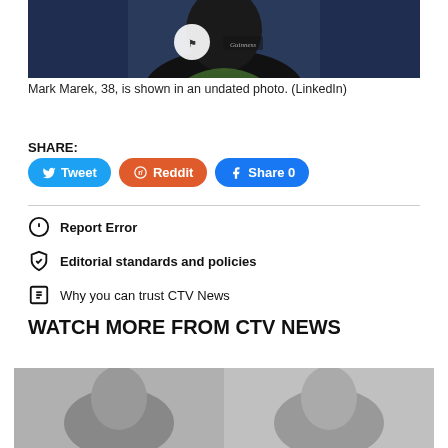[Figure (photo): Mark Marek, 38, shown in an undated photo (LinkedIn) — person wearing dark jacket with badges]
Mark Marek, 38, is shown in an undated photo. (LinkedIn)
SHARE:
Tweet
Reddit
Share 0
Report Error
Editorial standards and policies
Why you can trust CTV News
WATCH MORE FROM CTV NEWS
[Figure (photo): Two people shown in a photo below the Watch More heading]